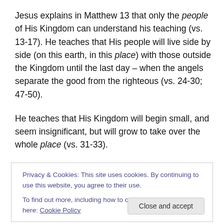Jesus explains in Matthew 13 that only the people of His Kingdom can understand his teaching (vs. 13-17). He teaches that His people will live side by side (on this earth, in this place) with those outside the Kingdom until the last day – when the angels separate the good from the righteous (vs. 24-30; 47-50).
He teaches that His Kingdom will begin small, and seem insignificant, but will grow to take over the whole place (vs. 31-33).
Privacy & Cookies: This site uses cookies. By continuing to use this website, you agree to their use.
To find out more, including how to control cookies, see here: Cookie Policy
Close and accept